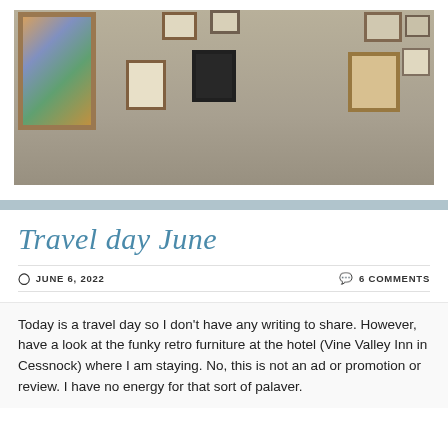[Figure (photo): Hotel room wall with multiple framed artworks and paintings arranged in a gallery-style display. A large colorful painting is on the left, with several smaller framed pictures arranged on the taupe/grey wall to the right.]
Travel day June
JUNE 6, 2022   6 COMMENTS
Today is a travel day so I don't have any writing to share. However, have a look at the funky retro furniture at the hotel (Vine Valley Inn in Cessnock) where I am staying. No, this is not an ad or promotion or review. I have no energy for that sort of palaver.